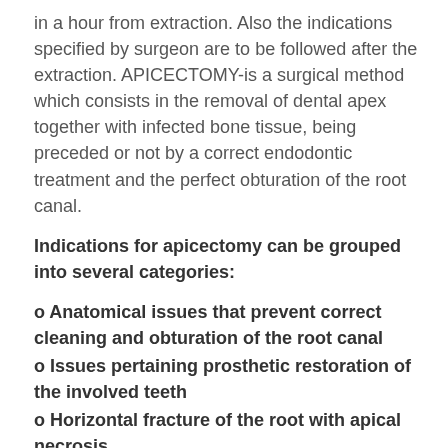in a hour from extraction. Also the indications specified by surgeon are to be followed after the extraction. APICECTOMY-is a surgical method which consists in the removal of dental apex together with infected bone tissue, being preceded or not by a correct endodontic treatment and the perfect obturation of the root canal.
Indications for apicectomy can be grouped into several categories:
o Anatomical issues that prevent correct cleaning and obturation of the root canal
o Issues pertaining prosthetic restoration of the involved teeth
o Horizontal fracture of the root with apical necrosis
o Root canal length obstacles that cannot be overcomed through the endodontic treatment
o Treatment errors in endodontic procedure